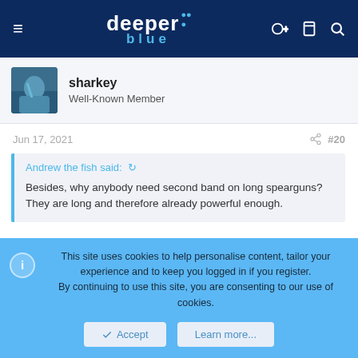deeper blue
sharkey
Well-Known Member
Jun 17, 2021  #20
Andrew the fish said: ↺

Besides, why anybody need second band on long spearguns? They are long and therefore already powerful enough.
Plenty of reasons to need a second, third, fourth....... rubbers on a speargun.
This site uses cookies to help personalise content, tailor your experience and to keep you logged in if you register.
By continuing to use this site, you are consenting to our use of cookies.